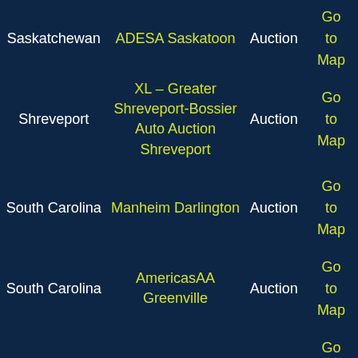| Location/State | Auction Name | Type | Action |
| --- | --- | --- | --- |
| Saskatchewan | ADESA Saskatoon | Auction | Go to Map |
| Shreveport | XL – Greater Shreveport-Bossier Auto Auction Shreveport | Auction | Go to Map |
| South Carolina | Manheim Darlington | Auction | Go to Map |
| South Carolina | AmericasAA Greenville | Auction | Go to Map |
| South Carolina | IAA – Charleston | Auction | Go to Map |
| South Carolina | IAA – Lexington | Auction | Go to Map |